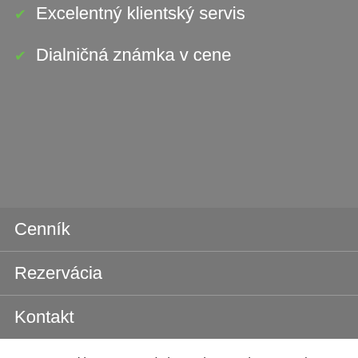Excelentný klientský servis
Dialničná známka v cene
Cenník
Rezervácia
Kontakt
We use cookies on our website to give you the most relevant experience by remembering your preferences and repeat visits. By clicking "Accept All", you consent to the use of ALL the cookies. However, you may visit "Cookie Settings" to provide a controlled consent.
Cookie Settings
Accept All